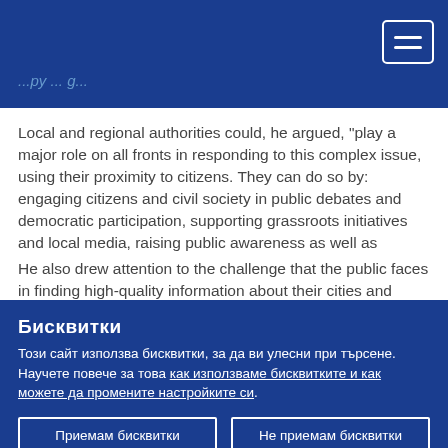Local and regional authorities could, he argued, "play a major role on all fronts in responding to this complex issue, using their proximity to citizens. They can do so by: engaging citizens and civil society in public debates and democratic participation, supporting grassroots initiatives and local media, raising public awareness as well as improving media literacy and access to reliable information overall."
He also drew attention to the challenge that the public faces in finding high-quality information about their cities and regions. "Local media, which has come under immense financial
Бисквитки
Този сайт използва бисквитки, за да ви улесни при търсене. Научете повече за това как използваме бисквитките и как можете да промените настройките си.
Приемам бисквитки
Не приемам бисквитки